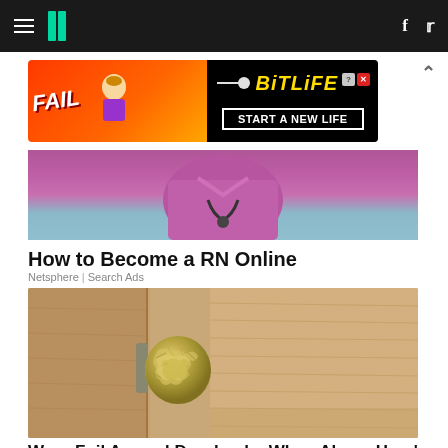HuffPost navigation bar with hamburger menu, logo, Facebook and Twitter icons
[Figure (screenshot): BitLife advertisement banner: FAIL text with cartoon character, fire background, BitLife logo in yellow on black, START A NEW LIFE text]
[Figure (photo): Partial photo of a person wearing purple scrubs with a stethoscope]
How to Become a RN Online
Netsphere | Search Ads
[Figure (photo): Close-up photo of a doorknob wrapped in aluminum foil on a wooden door]
Wrap Foil Around Doorknobs When Alone, Here's Why
Sogoodly